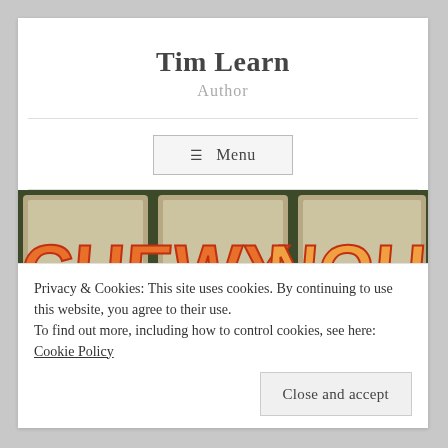Tim Learn
Author
≡ Menu
[Figure (illustration): Three comic book cards side by side showing stylized graffiti-style text reading 'CHEWY NOH' in orange and red letters on worn parchment-colored backgrounds with dark borders.]
Privacy & Cookies: This site uses cookies. By continuing to use this website, you agree to their use.
To find out more, including how to control cookies, see here: Cookie Policy
Close and accept